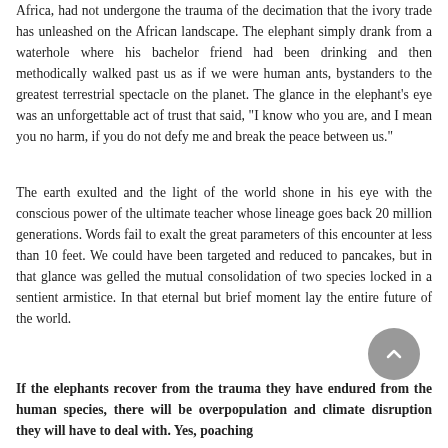Africa, had not undergone the trauma of the decimation that the ivory trade has unleashed on the African landscape. The elephant simply drank from a waterhole where his bachelor friend had been drinking and then methodically walked past us as if we were human ants, bystanders to the greatest terrestrial spectacle on the planet. The glance in the elephant's eye was an unforgettable act of trust that said, "I know who you are, and I mean you no harm, if you do not defy me and break the peace between us."
The earth exulted and the light of the world shone in his eye with the conscious power of the ultimate teacher whose lineage goes back 20 million generations. Words fail to exalt the great parameters of this encounter at less than 10 feet. We could have been targeted and reduced to pancakes, but in that glance was gelled the mutual consolidation of two species locked in a sentient armistice. In that eternal but brief moment lay the entire future of the world.
If the elephants recover from the trauma they have endured from the human species, there will be overpopulation and climate disruption they will have to deal with. Yes, poaching